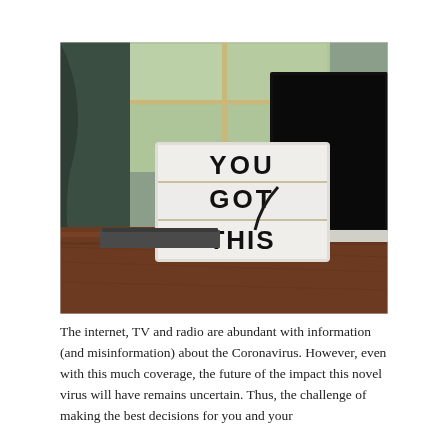[Figure (photo): Photo of a light-box sign on a wooden desk reading 'YOU GOT THIS' in large bold letters, with a laptop open on the right side and a window with greenery visible in the background.]
The internet, TV and radio are abundant with information (and misinformation) about the Coronavirus. However, even with this much coverage, the future of the impact this novel virus will have remains uncertain. Thus, the challenge of making the best decisions for you and your